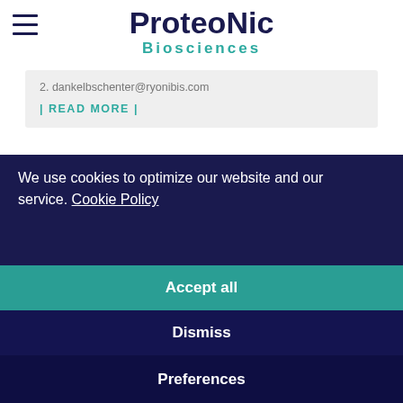[Figure (logo): ProteoNic Biosciences logo with hamburger menu icon]
2. dankelbschenter@ryonibis.com
| READ MORE |
We use cookies to optimize our website and our service. Cookie Policy
Accept all
Dismiss
Preferences
vector technology and services for efficient